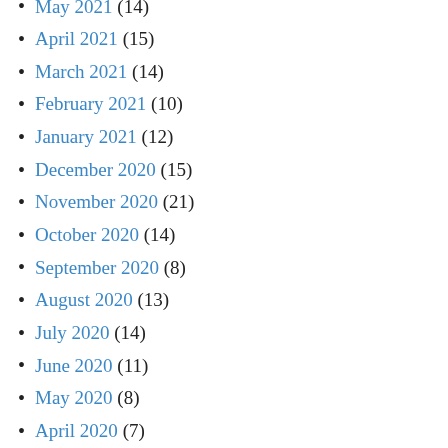May 2021 (14)
April 2021 (15)
March 2021 (14)
February 2021 (10)
January 2021 (12)
December 2020 (15)
November 2020 (21)
October 2020 (14)
September 2020 (8)
August 2020 (13)
July 2020 (14)
June 2020 (11)
May 2020 (8)
April 2020 (7)
March 2020 (8)
February 2020 (12)
January 2020 (12)